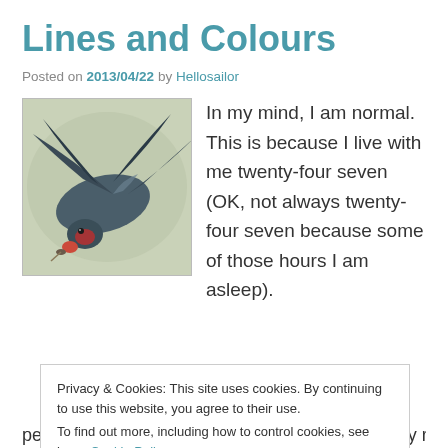Lines and Colours
Posted on 2013/04/22 by Hellosailor
[Figure (illustration): Illustration of a swallow bird in flight, viewed from above-side, with dark blue-grey plumage and a red patch on the throat, holding something in its beak.]
In my mind, I am normal. This is because I live with me twenty-four seven (OK, not always twenty-four seven because some of those hours I am asleep).
Privacy & Cookies: This site uses cookies. By continuing to use this website, you agree to their use.
To find out more, including how to control cookies, see here: Cookie Policy
Close and accept
percent longer. BPD'ers emotions also repeatedly re-